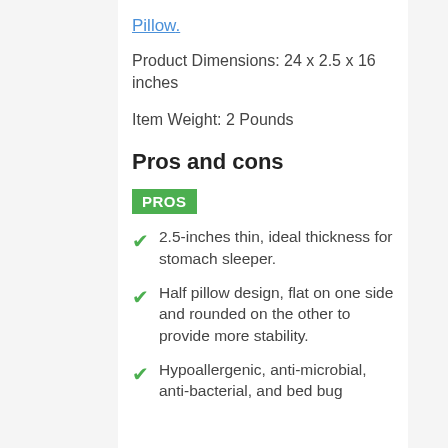Pillow.
Product Dimensions: 24 x 2.5 x 16 inches
Item Weight: 2 Pounds
Pros and cons
PROS
2.5-inches thin, ideal thickness for stomach sleeper.
Half pillow design, flat on one side and rounded on the other to provide more stability.
Hypoallergenic, anti-microbial, anti-bacterial, and bed bug